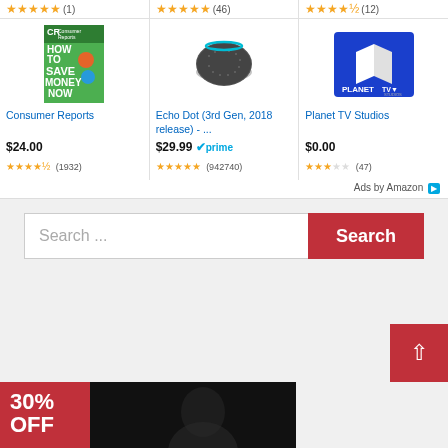[Figure (screenshot): Amazon ad unit showing three products: Consumer Reports magazine, Echo Dot 3rd Gen, Planet TV Studios, each with star ratings, prices, and review counts. Below is a search bar with red Search button, a back-to-top button, and a 30% OFF banner at the bottom.]